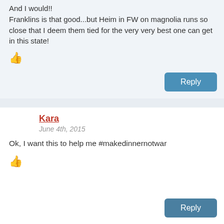And I would!! Franklins is that good...but Heim in FW on magnolia runs so close that I deem them tied for the very very best one can get in this state!
Reply
Kara
June 4th, 2015
Ok, I want this to help me #makedinnernotwar
Reply